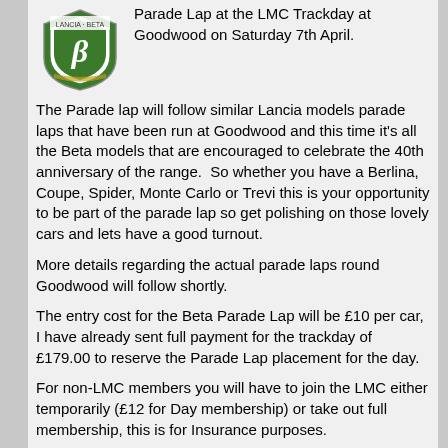[Figure (logo): Lancia Beta club green shield logo with a stylized B in the center]
Parade Lap at the LMC Trackday at Goodwood on Saturday 7th April.
The Parade lap will follow similar Lancia models parade laps that have been run at Goodwood and this time it's all the Beta models that are encouraged to celebrate the 40th anniversary of the range.  So whether you have a Berlina, Coupe, Spider, Monte Carlo or Trevi this is your opportunity to be part of the parade lap so get polishing on those lovely cars and lets have a good turnout.
More details regarding the actual parade laps round Goodwood will follow shortly.
The entry cost for the Beta Parade Lap will be £10 per car, I have already sent full payment for the trackday of £179.00 to reserve the Parade Lap placement for the day.
For non-LMC members you will have to join the LMC either temporarily (£12 for Day membership) or take out full membership, this is for Insurance purposes.
If you would like to be part of the Beta Parade